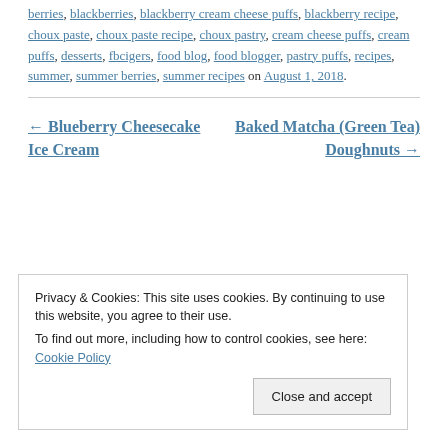berries, blackberries, blackberry cream cheese puffs, blackberry recipe, choux paste, choux paste recipe, choux pastry, cream cheese puffs, cream puffs, desserts, fbcigers, food blog, food blogger, pastry puffs, recipes, summer, summer berries, summer recipes on August 1, 2018.
← Blueberry Cheesecake Ice Cream
Baked Matcha (Green Tea) Doughnuts →
Privacy & Cookies: This site uses cookies. By continuing to use this website, you agree to their use.
To find out more, including how to control cookies, see here: Cookie Policy
Close and accept